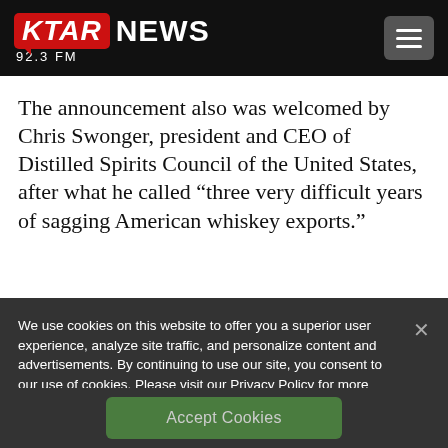KTAR NEWS 92.3 FM
The announcement also was welcomed by Chris Swonger, president and CEO of Distilled Spirits Council of the United States, after what he called “three very difficult years of sagging American whiskey exports.”
We use cookies on this website to offer you a superior user experience, analyze site traffic, and personalize content and advertisements. By continuing to use our site, you consent to our use of cookies. Please visit our Privacy Policy for more information.
Accept Cookies